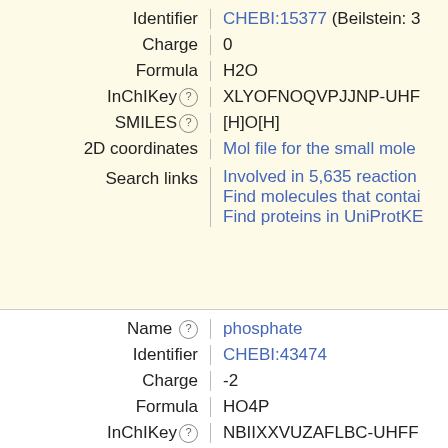| Field | Value |
| --- | --- |
| Identifier | CHEBI:15377 (Beilstein: 3... |
| Charge | 0 |
| Formula | H2O |
| InChIKey | XLYOFNOQVPJJNP-UHF... |
| SMILES | [H]O[H] |
| 2D coordinates | Mol file for the small mole... |
| Search links | Involved in 5,635 reaction...
Find molecules that contai...
Find proteins in UniProtKB... |
| Field | Value |
| --- | --- |
| Name | phosphate |
| Identifier | CHEBI:43474 |
| Charge | -2 |
| Formula | HO4P |
| InChIKey | NBIIXXVUZAFLBC-UHFF... |
| SMILES | OP([O-])([O-])=O |
| 2D coordinates | Mol file for the small mole... |